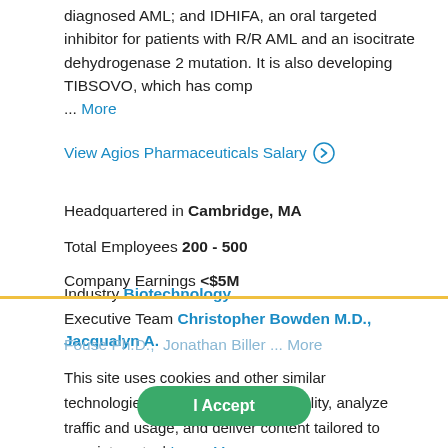diagnosed AML; and IDHIFA, an oral targeted inhibitor for patients with R/R AML and an isocitrate dehydrogenase 2 mutation. It is also developing TIBSOVO, which has comp ... More
View Agios Pharmaceuticals Salary →
Headquartered in Cambridge, MA
Total Employees 200 - 500
Company Earnings <$5M
Industry Biotechnology
Executive Team Christopher Bowden M.D.,  Jacqualyn A. Fouse Ph.D.,  Jonathan Biller ... More
This site uses cookies and other similar technologies to provide site functionality, analyze traffic and usage, and deliver content tailored to your interests. | Learn More
Popular Jobs at AGIOS PHARMACEUTICALS
I Accept